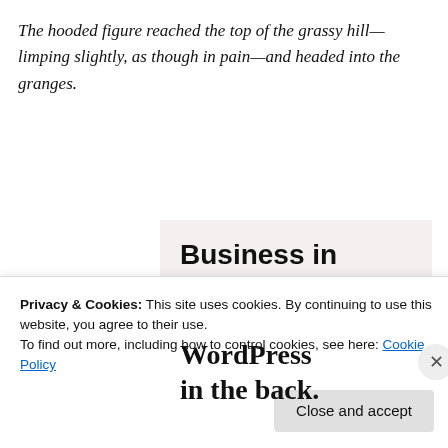The hooded figure reached the top of the grassy hill—limping slightly, as though in pain—and headed into the granges.
[Figure (illustration): WordPress advertisement banner with two sections: top section on light beige background reading 'Business in the front...' in bold sans-serif, and bottom section on orange/pink gradient background with decorative circles reading 'WordPress in the back.' in bold serif font.]
Privacy & Cookies: This site uses cookies. By continuing to use this website, you agree to their use.
To find out more, including how to control cookies, see here: Cookie Policy